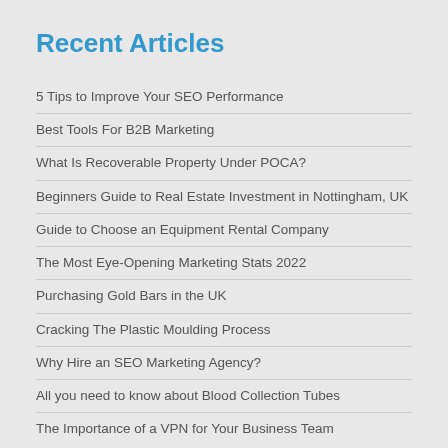Recent Articles
5 Tips to Improve Your SEO Performance
Best Tools For B2B Marketing
What Is Recoverable Property Under POCA?
Beginners Guide to Real Estate Investment in Nottingham, UK
Guide to Choose an Equipment Rental Company
The Most Eye-Opening Marketing Stats 2022
Purchasing Gold Bars in the UK
Cracking The Plastic Moulding Process
Why Hire an SEO Marketing Agency?
All you need to know about Blood Collection Tubes
The Importance of a VPN for Your Business Team